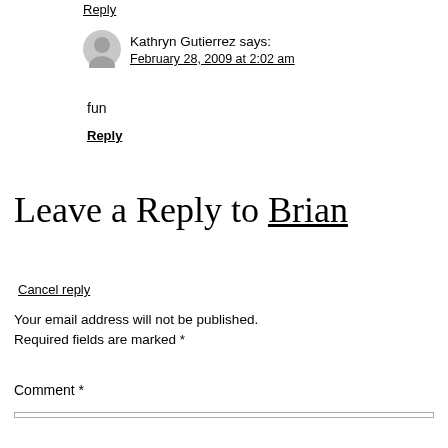Reply
Kathryn Gutierrez says:
February 28, 2009 at 2:02 am
fun
Reply
Leave a Reply to Brian
Cancel reply
Your email address will not be published. Required fields are marked *
Comment *